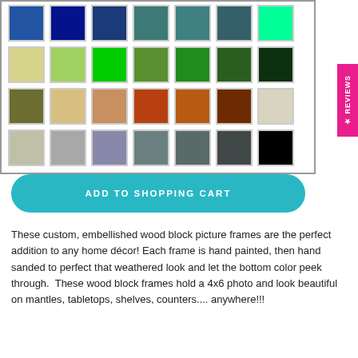[Figure (infographic): Grid of color swatches in 4 rows of 7 colors each: blues and teals, greens, earth tones/browns/neutrals, and grays/black]
★ REVIEWS
ADD TO SHOPPING CART
These custom, embellished wood block picture frames are the perfect addition to any home décor! Each frame is hand painted, then hand sanded to perfect that weathered look and let the bottom color peek through.  These wood block frames hold a 4x6 photo and look beautiful on mantles, tabletops, shelves, counters.... anywhere!!!